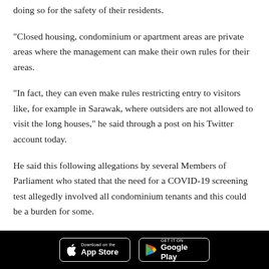doing so for the safety of their residents.
“Closed housing, condominium or apartment areas are private areas where the management can make their own rules for their areas.
“In fact, they can even make rules restricting entry to visitors like, for example in Sarawak, where outsiders are not allowed to visit the long houses,” he said through a post on his Twitter account today.
He said this following allegations by several Members of Parliament who stated that the need for a COVID-19 screening test allegedly involved all condominium tenants and this could be a burden for some.
[Figure (other): Black footer bar with two app download buttons: Apple App Store and Google Play Store]